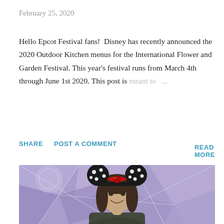February 25, 2020
Hello Epcot Festival fans!  Disney has recently announced the 2020 Outdoor Kitchen menus for the International Flower and Garden Festival. This year's festival runs from March 4th through June 1st 2020. This post is meant to ...
SHARE
POST A COMMENT
READ MORE
[Figure (photo): A smiling young woman wearing black Minnie Mouse polka-dot ears with a red sequin bow, standing in front of a purple geometric background.]